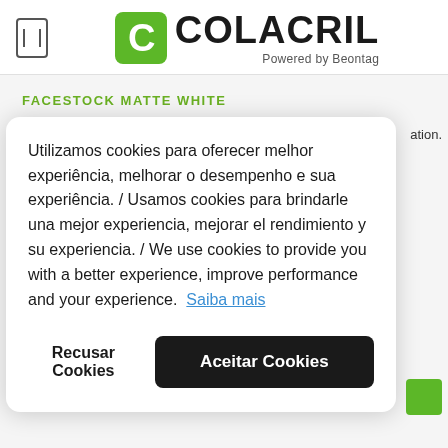[Figure (logo): Colacril logo with hamburger menu icon on the left. Green rounded square with white C letter, followed by bold text COLACRIL and tagline Powered by Beontag]
FACESTOCK MATTE WHITE
Utilizamos cookies para oferecer melhor experiência, melhorar o desempenho e sua experiência. / Usamos cookies para brindarle una mejor experiencia, mejorar el rendimiento y su experiencia. / We use cookies to provide you with a better experience, improve performance and your experience. Saiba mais
Recusar Cookies
Aceitar Cookies